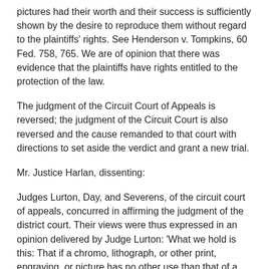pictures had their worth and their success is sufficiently shown by the desire to reproduce them without regard to the plaintiffs' rights. See Henderson v. Tompkins, 60 Fed. 758, 765. We are of opinion that there was evidence that the plaintiffs have rights entitled to the protection of the law.
The judgment of the Circuit Court of Appeals is reversed; the judgment of the Circuit Court is also reversed and the cause remanded to that court with directions to set aside the verdict and grant a new trial.
Mr. Justice Harlan, dissenting:
Judges Lurton, Day, and Severens, of the circuit court of appeals, concurred in affirming the judgment of the district court. Their views were thus expressed in an opinion delivered by Judge Lurton: 'What we hold is this: That if a chromo, lithograph, or other print, engraving, or picture has no other use than that of a mere advertisement and no value